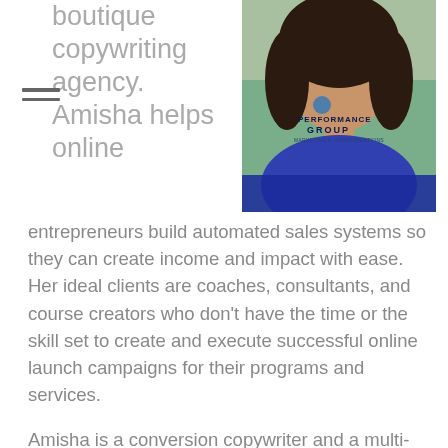[Figure (photo): Portrait photo of Amisha, a woman with dark hair wearing a blue outfit, with a Performance Group logo overlay on the image]
boutique copywriting agency. Amisha helps online entrepreneurs build automated sales systems so they can create income and impact with ease. Her ideal clients are coaches, consultants, and course creators who don't have the time or the skill set to create and execute successful online launch campaigns for their programs and services.
Amisha is a conversion copywriter and a multi-passionate entrepreneur who runs two successful companies — one is an international